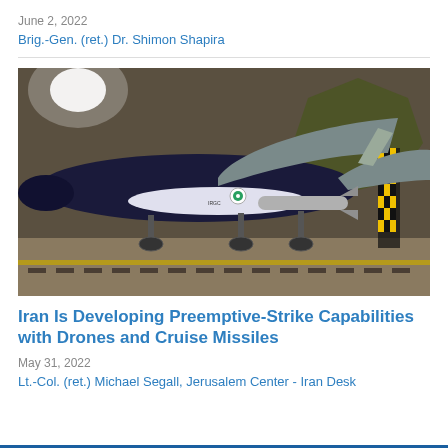June 2, 2022
Brig.-Gen. (ret.) Dr. Shimon Shapira
[Figure (photo): Iranian military drone (UAV) displayed in a hangar, dark blue aircraft body with missiles mounted underneath, on landing gear, concrete floor with yellow stripe, emblem visible on wall in background]
Iran Is Developing Preemptive-Strike Capabilities with Drones and Cruise Missiles
May 31, 2022
Lt.-Col. (ret.) Michael Segall, Jerusalem Center - Iran Desk